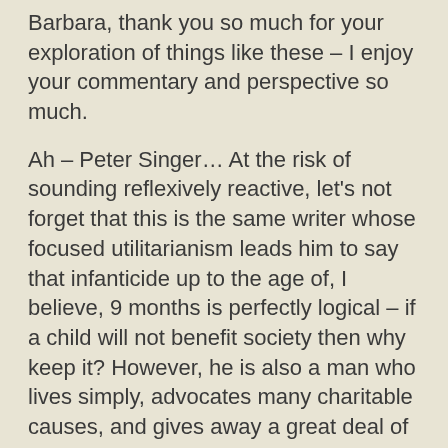Barbara, thank you so much for your exploration of things like these – I enjoy your commentary and perspective so much.
Ah – Peter Singer… At the risk of sounding reflexively reactive, let's not forget that this is the same writer whose focused utilitarianism leads him to say that infanticide up to the age of, I believe, 9 months is perfectly logical – if a child will not benefit society then why keep it? However, he is also a man who lives simply, advocates many charitable causes, and gives away a great deal of his own personal income. To me, these seeming contradictions show fundamental problems with